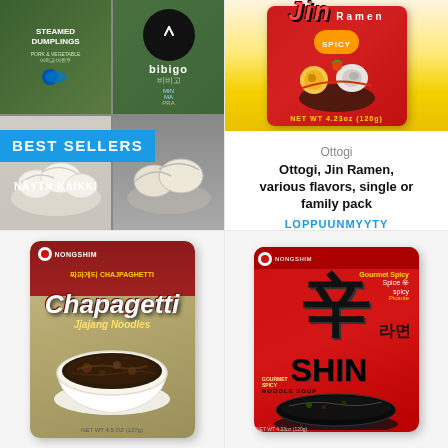[Figure (photo): Best Sellers banner with Korean food products - steamed dumplings and bibigo branded products in a 2x2 grid overlay with blue BEST SELLERS label and NÄYTÄ KAIKKI link]
[Figure (photo): Ottogi Jin Ramen Spicy instant noodle package on yellow background]
Ottogi
Ottogi, Jin Ramen, various flavors, single or family pack
LOPPUUNMYYTY
[Figure (photo): Nongshim Chapagetti Jjajang Noodles package with bowl of black bean noodles]
[Figure (photo): Nongshim Shin Ramen Spicy noodle package with bowl of soup]
Nongshim